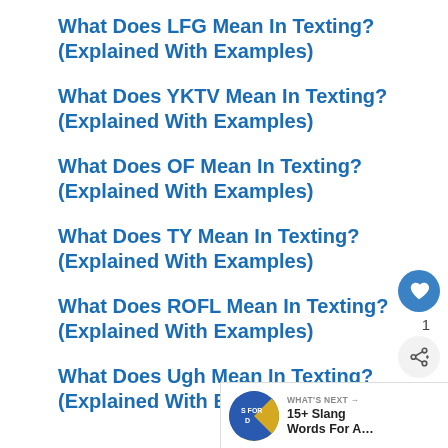What Does LFG Mean In Texting? (Explained With Examples)
What Does YKTV Mean In Texting? (Explained With Examples)
What Does OF Mean In Texting? (Explained With Examples)
What Does TY Mean In Texting? (Explained With Examples)
What Does ROFL Mean In Texting? (Explained With Examples)
What Does Ugh Mean In Texting? (Explained With Examples)